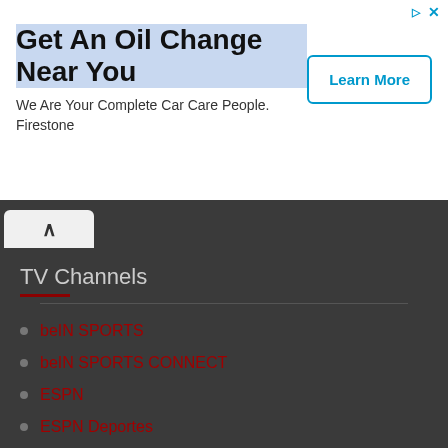[Figure (screenshot): Advertisement banner for Firestone oil change service with 'Learn More' button]
Get An Oil Change Near You
We Are Your Complete Car Care People.
Firestone
TV Channels
beIN SPORTS
beIN SPORTS CONNECT
ESPN
ESPN Deportes
ESPN Deportes+
FOX Deportes
Fox Soccer Plus
PFC Internacional